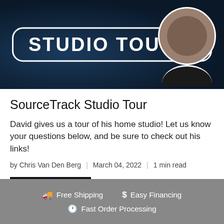[Figure (screenshot): Thumbnail image for a YouTube-style video titled STUDIO TOUR on a dark blue background, with a smiling man in a black shirt on the right side with a white outline cutout effect.]
SourceTrack Studio Tour
David gives us a tour of his home studio! Let us know your questions below, and be sure to check out his links!
by Chris Van Den Berg | March 04, 2022 | 1 min read
Read more
Free Shipping  Easy Financing  Fast Order Processing